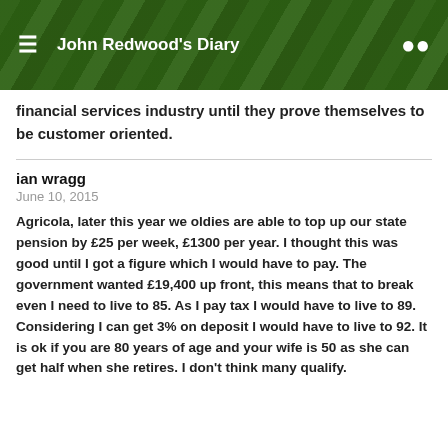John Redwood's Diary
financial services industry until they prove themselves to be customer oriented.
ian wragg
June 10, 2015
Agricola, later this year we oldies are able to top up our state pension by £25 per week, £1300 per year. I thought this was good until I got a figure which I would have to pay. The government wanted £19,400 up front, this means that to break even I need to live to 85. As I pay tax I would have to live to 89. Considering I can get 3% on deposit I would have to live to 92. It is ok if you are 80 years of age and your wife is 50 as she can get half when she retires. I don't think many qualify.